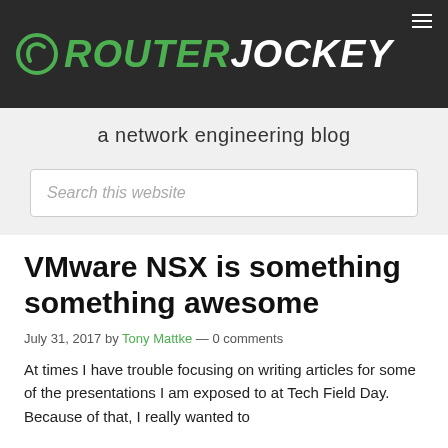ROUTER JOCKEY
a network engineering blog
Search this website
VMware NSX is something something awesome
July 31, 2017 by Tony Mattke — 0 comments
At times I have trouble focusing on writing articles for some of the presentations I am exposed to at Tech Field Day. Because of that, I really wanted to